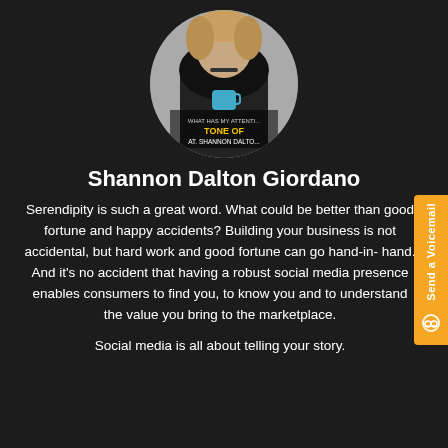[Figure (photo): Circular profile photo of Shannon Dalton Giordano, a woman in a black outfit holding a blue mug, with partial text overlay reading 'TONE OF' and 'AT. SHANNON DALTO']
Shannon Dalton Giordano
Serendipity is such a great word. What could be better than good fortune and happy accidents? Building your business is not accidental, but hard work and good fortune can go hand-in- hand. And it's no accident that having a robust social media presence enables consumers to find you, to know you and to understand the value you bring to the marketplace.
Social media is all about telling your story.